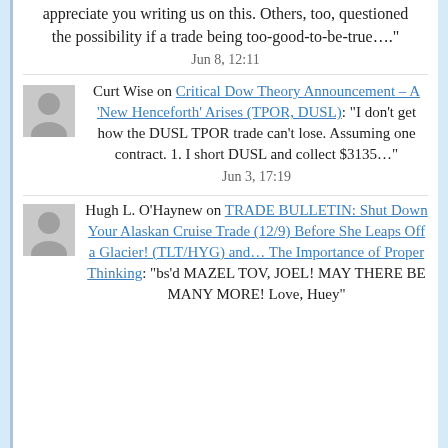appreciate you writing us on this. Others, too, questioned the possibility if a trade being too-good-to-be-true…."
Jun 8, 12:11
Curt Wise on Critical Dow Theory Announcement – A 'New Henceforth' Arises (TPOR, DUSL): "I don't get how the DUSL TPOR trade can't lose. Assuming one contract. 1. I short DUSL and collect $3135…"
Jun 3, 17:19
Hugh L. O'Haynew on TRADE BULLETIN: Shut Down Your Alaskan Cruise Trade (12/9) Before She Leaps Off a Glacier! (TLT/HYG) and… The Importance of Proper Thinking: "bs'd MAZEL TOV, JOEL! MAY THERE BE MANY MORE! Love, Huey"